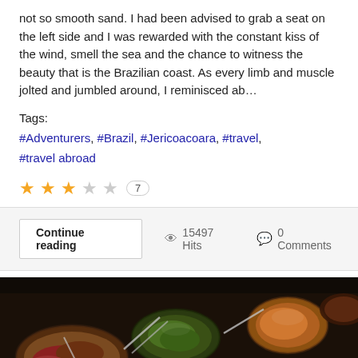not so smooth sand. I had been advised to grab a seat on the left side and I was rewarded with the constant kiss of the wind, smell the sea and the chance to witness the beauty that is the Brazilian coast. As every limb and muscle jolted and jumbled around, I reminisced ab…
Tags:
#Adventurers, #Brazil, #Jericoacoara, #travel, #travel abroad
★★★☆☆  7
Continue reading  👁 15497 Hits  💬 0 Comments
[Figure (photo): Overhead view of a food buffet spread with various dishes in bowls and trays, including meats, salads, and side dishes with serving utensils]